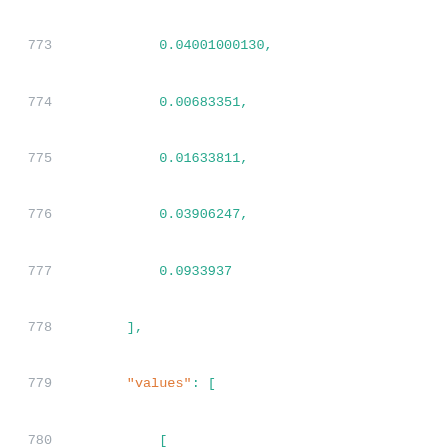Code listing lines 773-794 showing numeric array data in JSON/Python format